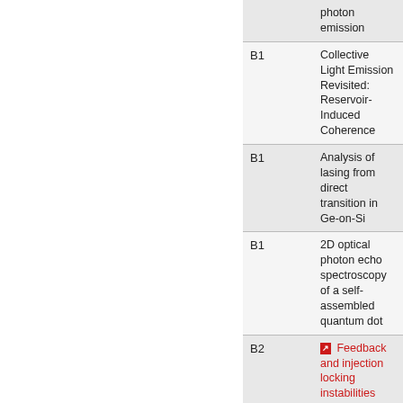| Session | Title |
| --- | --- |
|  | photon emission |
| B1 | Collective Light Emission Revisited: Reservoir-Induced Coherence |
| B1 | Analysis of lasing from direct transition in Ge-on-Si |
| B1 | 2D optical photon echo spectroscopy of a self-assembled quantum dot |
| B2 | Feedback and injection locking instabilities quantum-dot laser: a microscopically based bifurcation analysis |
| B2 | Optical injection enables coherence resonance in quantum-dot laser |
| B2 | Nonlinear dynamics of a quantum-dot laser coupled to an ele... |